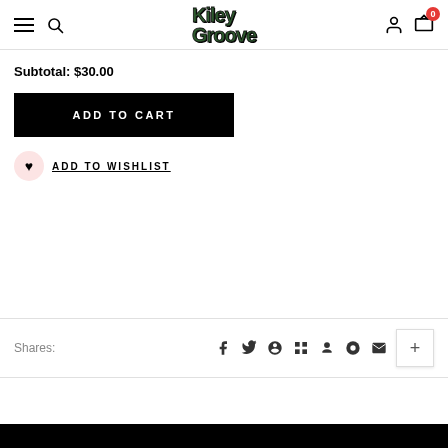KileyGroove navigation header with hamburger menu, search, logo, account, and cart (0)
Subtotal: $30.00
ADD TO CART
ADD TO WISHLIST
Shares: